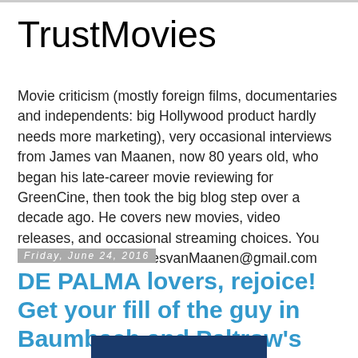TrustMovies
Movie criticism (mostly foreign films, documentaries and independents: big Hollywood product hardly needs more marketing), very occasional interviews from James van Maanen, now 80 years old, who began his late-career movie reviewing for GreenCine, then took the big blog step over a decade ago. He covers new movies, video releases, and occasional streaming choices. You can reach him at JamesvanMaanen@gmail.com
Friday, June 24, 2016
DE PALMA lovers, rejoice! Get your fill of the guy in Baumbach and Paltrow's new doc
[Figure (other): Partial image visible at bottom of page, dark blue/navy colored element]